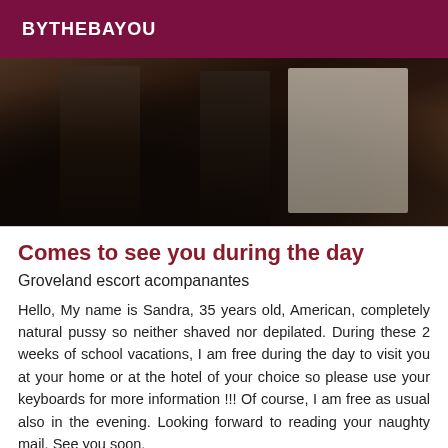BYTHEBAYOU
[Figure (photo): Close-up photo of a person's legs wearing black high heels and dark stockings, standing on a wooden floor near a bed with white bedding.]
Comes to see you during the day
Groveland escort acompanantes
Hello, My name is Sandra, 35 years old, American, completely natural pussy so neither shaved nor depilated. During these 2 weeks of school vacations, I am free during the day to visit you at your home or at the hotel of your choice so please use your keyboards for more information !!! Of course, I am free as usual also in the evening. Looking forward to reading your naughty mail. See you soon.